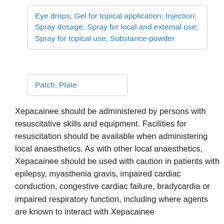Eye drops; Gel for topical application; Injection; Spray dosage; Spray for local and external use; Spray for topical use; Substance-powder
Patch; Plate
Xepacainee should be administered by persons with resuscitative skills and equipment. Facilities for resuscitation should be available when administering local anaesthetics. As with other local anaesthetics, Xepacainee should be used with caution in patients with epilepsy, myasthenia gravis, impaired cardiac conduction, congestive cardiac failure, bradycardia or impaired respiratory function, including where agents are known to interact with Xepacainee